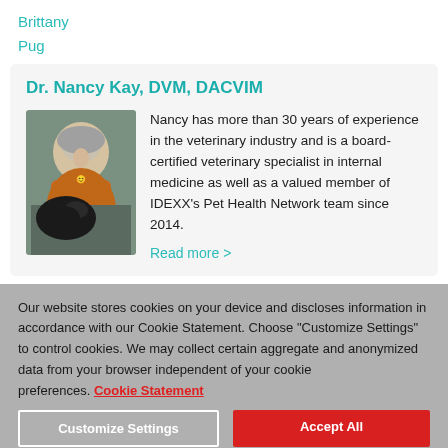Brittany
Pug
Dr. Nancy Kay, DVM, DACVIM
[Figure (photo): Photo of Dr. Nancy Kay smiling, holding a black dog, wearing an orange top, outdoors with greenery in background.]
Nancy has more than 30 years of experience in the veterinary industry and is a board-certified veterinary specialist in internal medicine as well as a valued member of IDEXX's Pet Health Network team since 2014.
Read more >
Our website stores cookies on your device and discloses information in accordance with our Cookie Statement. Choose "Customize Settings" to control cookies. We may collect certain aggregate and anonymized data from your browser independent of your cookie preferences. Cookie Statement
Customize Settings
Accept All